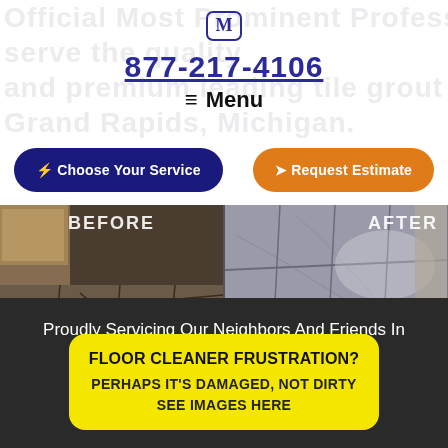[Figure (logo): Blue shield logo with M letter]
877-217-4106
≡ Menu
⚡ Choose Your Service
➤ Request Estimate
[Figure (photo): Before and after comparison photos of marble tile floor cleaning. Left side labeled BEFORE shows dirty/dull marble floor. Right side labeled AFTER shows clean and shiny marble tiles.]
Proudly Servicing Our Neighbors And Friends In Grand … Michigan.
FLOOR CLEANER FRUSTRATION?
PERHAPS IT'S DAMAGED, NOT DIRTY
SEE IMAGES HERE